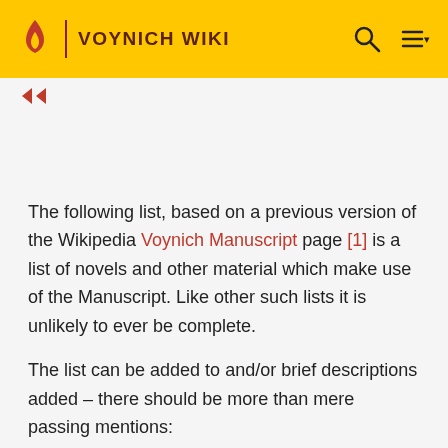VOYNICH WIKI
The following list, based on a previous version of the Wikipedia Voynich Manuscript page [1] is a list of novels and other material which make use of the Manuscript. Like other such lists it is unlikely to ever be complete.
The list can be added to and/or brief descriptions added - there should be more than mere passing mentions:
Russell Blake 'The Voynich Cypher'